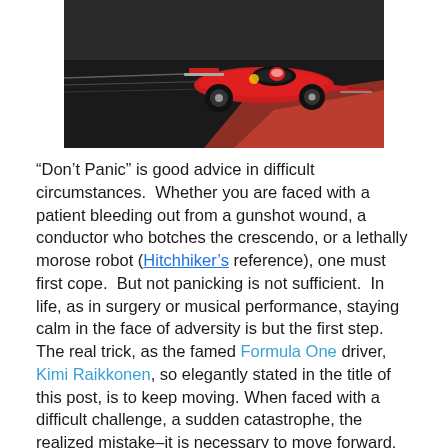[Figure (photo): A red Ferrari Formula One race car speeding on a track with motion blur in the background]
“Don’t Panic” is good advice in difficult circumstances. Whether you are faced with a patient bleeding out from a gunshot wound, a conductor who botches the crescendo, or a lethally morose robot (Hitchhiker’s reference), one must first cope. But not panicking is not sufficient. In life, as in surgery or musical performance, staying calm in the face of adversity is but the first step. The real trick, as the famed Formula One driver, Kimi Raikkonen, so elegantly stated in the title of this post, is to keep moving. When faced with a difficult challenge, a sudden catastrophe, the realized mistake–it is necessary to move forward. Carry speed. It is almost never helpful or appropriate to stop suddenly; ruminate on why the illness has happened to